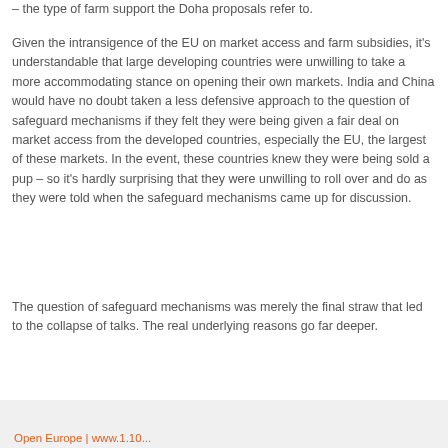– the type of farm support the Doha proposals refer to.
Given the intransigence of the EU on market access and farm subsidies, it's understandable that large developing countries were unwilling to take a more accommodating stance on opening their own markets. India and China would have no doubt taken a less defensive approach to the question of safeguard mechanisms if they felt they were being given a fair deal on market access from the developed countries, especially the EU, the largest of these markets. In the event, these countries knew they were being sold a pup – so it's hardly surprising that they were unwilling to roll over and do as they were told when the safeguard mechanisms came up for discussion.
The question of safeguard mechanisms was merely the final straw that led to the collapse of talks. The real underlying reasons go far deeper.
Open Europe | www.1.10...